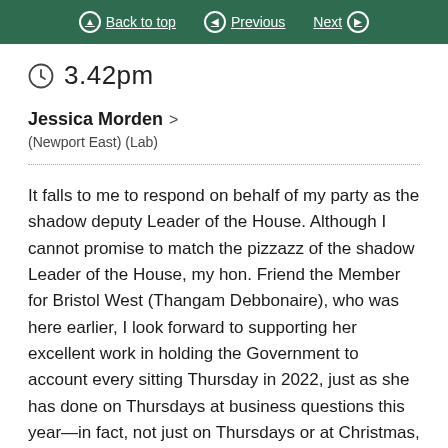Back to top | Previous | Next
3.42pm
Jessica Morden > (Newport East) (Lab)
It falls to me to respond on behalf of my party as the shadow deputy Leader of the House. Although I cannot promise to match the pizzazz of the shadow Leader of the House, my hon. Friend the Member for Bristol West (Thangam Debbonaire), who was here earlier, I look forward to supporting her excellent work in holding the Government to account every sitting Thursday in 2022, just as she has done on Thursdays at business questions this year—in fact, not just on Thursdays or at Christmas, but all year